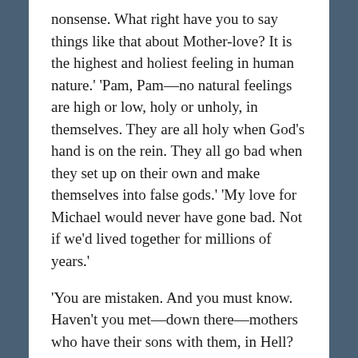nonsense. What right have you to say things like that about Mother-love? It is the highest and holiest feeling in human nature.' 'Pam, Pam—no natural feelings are high or low, holy or unholy, in themselves. They are all holy when God's hand is on the rein. They all go bad when they set up on their own and make themselves into false gods.' 'My love for Michael would never have gone bad. Not if we'd lived together for millions of years.'
'You are mistaken. And you must know. Haven't you met—down there—mothers who have their sons with them, in Hell? Does their love make them happy . . ?'
'Give me my boy. Do you hear? I don't care about all your rules and regulations. I